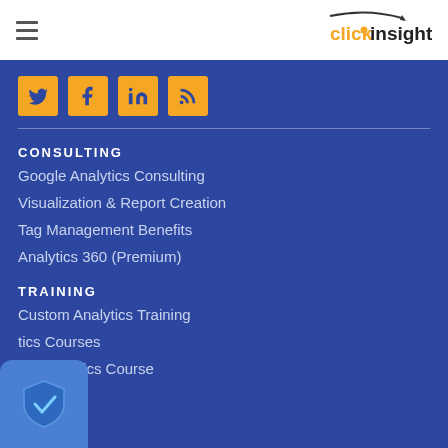[Figure (logo): ClickInsight logo with orange arrow, orange 'click' and dark 'insight' text]
[Figure (infographic): Social media icons: Twitter, Facebook, LinkedIn, RSS feed on orange square backgrounds]
CONSULTING
Google Analytics Consulting
Visualization & Report Creation
Tag Management Benefits
Analytics 360 (Premium)
TRAINING
Custom Analytics Training
tics Courses
gle Analytics Course